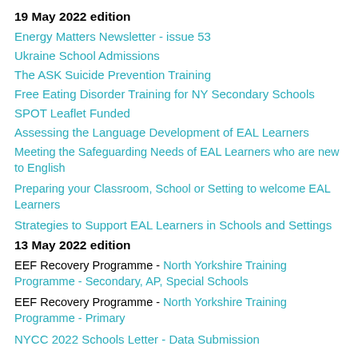19 May 2022 edition
Energy Matters Newsletter - issue 53
Ukraine School Admissions
The ASK Suicide Prevention Training
Free Eating Disorder Training for NY Secondary Schools
SPOT Leaflet Funded
Assessing the Language Development of EAL Learners
Meeting the Safeguarding Needs of EAL Learners who are new to English
Preparing your Classroom, School or Setting to welcome EAL Learners
Strategies to Support EAL Learners in Schools and Settings
13 May 2022 edition
EEF Recovery Programme - North Yorkshire Training Programme - Secondary, AP, Special Schools
EEF Recovery Programme - North Yorkshire Training Programme - Primary
NYCC 2022 Schools Letter - Data Submission